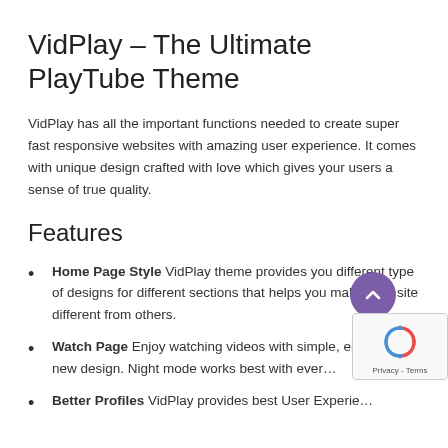VidPlay – The Ultimate PlayTube Theme
VidPlay has all the important functions needed to create super fast responsive websites with amazing user experience. It comes with unique design crafted with love which gives your users a sense of true quality.
Features
Home Page Style VidPlay theme provides you different type of designs for different sections that helps you make your site different from others.
Watch Page Enjoy watching videos with simple, el… and new design. Night mode works best with ever…
Better Profiles VidPlay provides best User Experie… Always improve your users by providing them the…